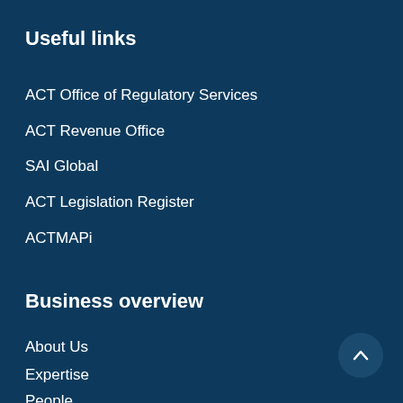Useful links
ACT Office of Regulatory Services
ACT Revenue Office
SAI Global
ACT Legislation Register
ACTMAPi
Business overview
About Us
Expertise
People
Careers